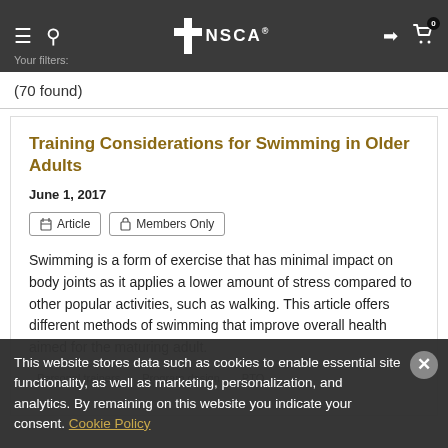NSCA — Your filters:
(70 found)
Training Considerations for Swimming in Older Adults
June 1, 2017
Article   Members Only
Swimming is a form of exercise that has minimal impact on body joints as it applies a lower amount of stress compared to other popular activities, such as walking. This article offers different methods of swimming that improve overall health aimed for the maturing adult.
Personal trainers   Program design   PTQ
This website stores data such as cookies to enable essential site functionality, as well as marketing, personalization, and analytics. By remaining on this website you indicate your consent. Cookie Policy